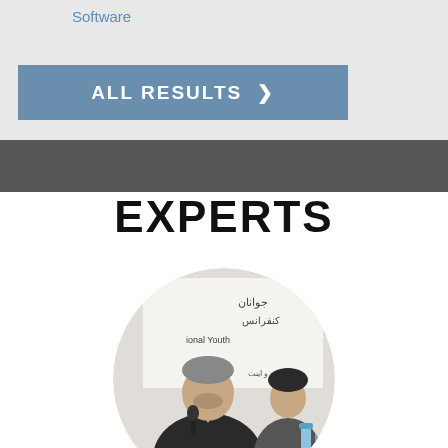Software
ALL RESULTS ❯
[Figure (photo): Expert person speaking at a conference with Arabic/Farsi banner reading 'National Youth Conference' and a woman in background]
EXPERTS